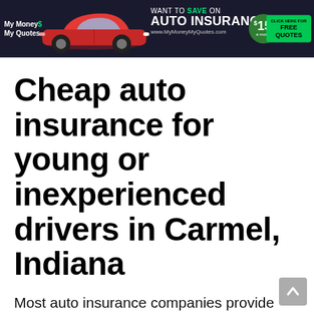[Figure (infographic): Advertisement banner for My Money My Quotes auto insurance. Dark navy background with red sports car, text 'WANT TO SAVE ON AUTO INSURANCE?', price '$15 a month', and 'CLICK HERE FOR FREE QUOTES' call to action button. Website: www.MyMoneyMyQuotes.com]
Cheap auto insurance for young or inexperienced drivers in Carmel, Indiana
Most auto insurance companies provide auto insurance policies at expensive rates because they are riskier for car insurance companies than experienced drivers. The cost of auto insurance policies in Idaho also